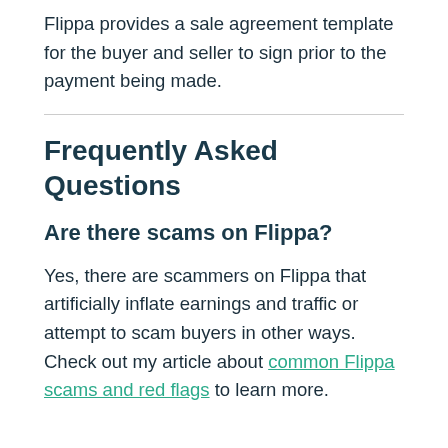Flippa provides a sale agreement template for the buyer and seller to sign prior to the payment being made.
Frequently Asked Questions
Are there scams on Flippa?
Yes, there are scammers on Flippa that artificially inflate earnings and traffic or attempt to scam buyers in other ways. Check out my article about common Flippa scams and red flags to learn more.